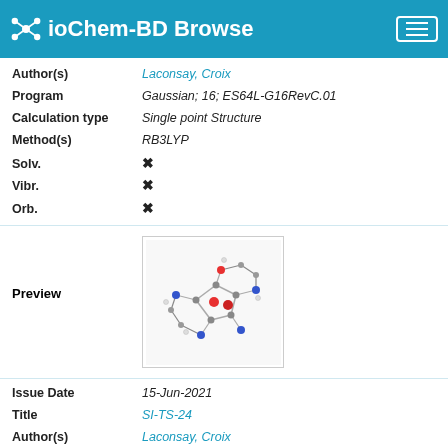ioChem-BD Browse
| Field | Value |
| --- | --- |
| Author(s) | Laconsay, Croix |
| Program | Gaussian; 16; ES64L-G16RevC.01 |
| Calculation type | Single point Structure |
| Method(s) | RB3LYP |
| Solv. | ✗ |
| Vibr. | ✗ |
| Orb. | ✗ |
[Figure (illustration): 3D molecular structure preview showing a complex organic/inorganic molecule with colored atoms (red, blue, grey, white).]
| Field | Value |
| --- | --- |
| Issue Date | 15-Jun-2021 |
| Title | SI-TS-24 |
| Author(s) | Laconsay, Croix |
| Program | Gaussian; 16; ES64L-G16RevC.01 |
| Calculation type | Single point Structure |
| Method(s) | RB3LYP |
| Solv. | ✗ |
| Vibr. | ✗ |
| Orb. | ✗ |